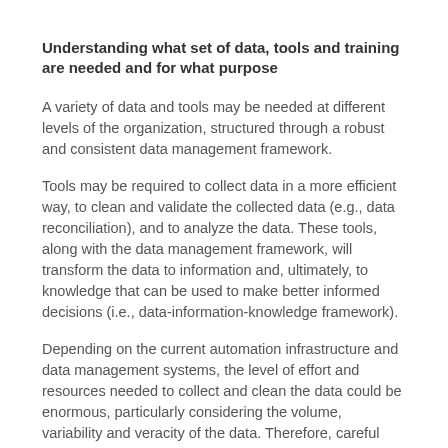Understanding what set of data, tools and training are needed and for what purpose
A variety of data and tools may be needed at different levels of the organization, structured through a robust and consistent data management framework.
Tools may be required to collect data in a more efficient way, to clean and validate the collected data (e.g., data reconciliation), and to analyze the data. These tools, along with the data management framework, will transform the data to information and, ultimately, to knowledge that can be used to make better informed decisions (i.e., data-information-knowledge framework).
Depending on the current automation infrastructure and data management systems, the level of effort and resources needed to collect and clean the data could be enormous, particularly considering the volume, variability and veracity of the data. Therefore, careful determination of what data is actually required is key. This is not a simple data digitalization exercise; emphasis should be given to the data